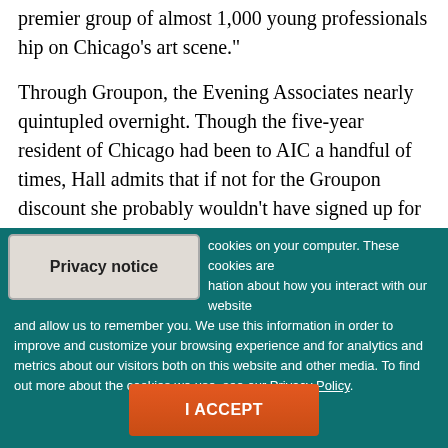premier group of almost 1,000 young professionals hip on Chicago's art scene."
Through Groupon, the Evening Associates nearly quintupled overnight. Though the five-year resident of Chicago had been to AIC a handful of times, Hall admits that if not for the Groupon discount she probably wouldn't have signed up for membership at the museum, much less with the Evening Associates (a $30 value). "I hate to
[Figure (screenshot): Cookie consent overlay on teal/dark green background with a 'Privacy notice' button (light gray, top left), cookie usage text with a Privacy Policy link, and an orange 'I ACCEPT' button at the bottom center.]